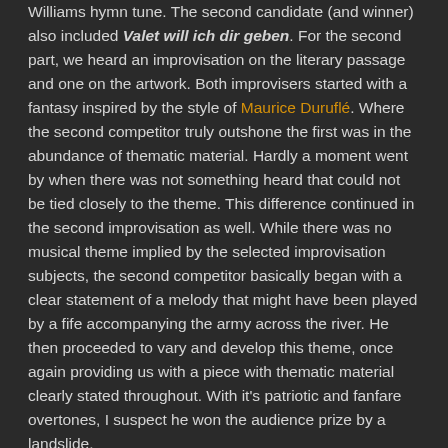Williams hymn tune. The second candidate (and winner) also included Valet will ich dir geben. For the second part, we heard an improvisation on the literary passage and one on the artwork. Both improvisers started with a fantasy inspired by the style of Maurice Duruflé. Where the second competitor truly outshone the first was in the abundance of thematic material. Hardly a moment went by when there was not something heard that could not be tied closely to the theme. This difference continued in the second improvisation as well. While there was no musical theme implied by the selected improvisation subjects, the second competitor basically began with a clear statement of a melody that might have been played by a fife accompanying the army across the river. He then proceeded to vary and develop this theme, once again providing us with a piece with thematic material clearly stated throughout. With it's patriotic and fanfare overtones, I suspect he won the audience prize by a landslide.
The judges for NCOI in Boston this year were Christa Rakich, Carson Cooman, and Edoardo Belotti. The five semi-finalists were Chris Ganza, Matthew Koraus, Douglas Murray, Patrick Scott and Samuel Soria. Second place was awarded to Douglas Murray and Patrick Scott received the audience and first prizes. The next competition